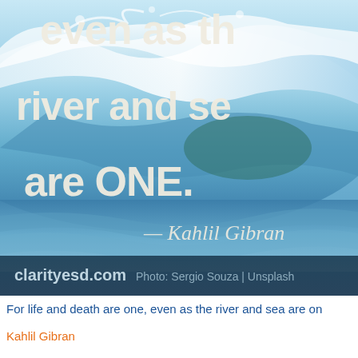[Figure (photo): Ocean wave photograph with overlaid white bold text reading 'even as the river and sea are ONE.' and italic script attribution '— Kahlil Gibran'. Bottom bar shows 'clarityesd.com  Photo: Sergio Souza | Unsplash'.]
For life and death are one, even as the river and sea are on
Kahlil Gibran